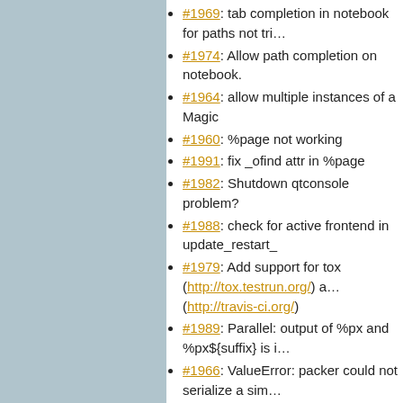#1969: tab completion in notebook for paths not tri…
#1974: Allow path completion on notebook.
#1964: allow multiple instances of a Magic
#1960: %page not working
#1991: fix _ofind attr in %page
#1982: Shutdown qtconsole problem?
#1988: check for active frontend in update_restart_…
#1979: Add support for tox (http://tox.testrun.org/) a… (http://travis-ci.org/)
#1989: Parallel: output of %px and %px${suffix} is i…
#1966: ValueError: packer could not serialize a sim…
#1987: Notebook: MathJax offline install not recogr…
#1970: dblclick to restore size of images
#1983: Notebook does not save heading level
#1978: Notebook names truncating at the first perio…
#1553: Limited size of output cells and provide scro… output cells
#1825: second attempt at scrolled long output
#1915: add cell-level metadata
#1934: Cell/Worksheet metadata
#1746: Confirm restart (configuration option, and cl…
#1700: …